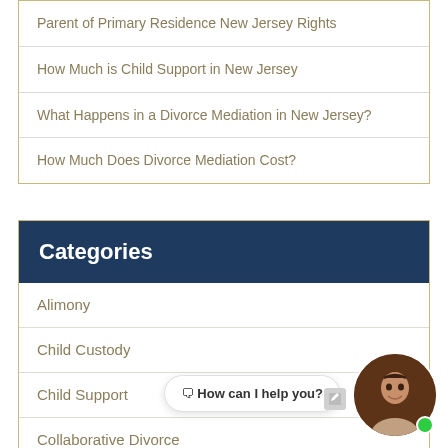Parent of Primary Residence New Jersey Rights
How Much is Child Support in New Jersey
What Happens in a Divorce Mediation in New Jersey?
How Much Does Divorce Mediation Cost?
Categories
Alimony
Child Custody
Child Support
Collaborative Divorce
Criminal Procedure